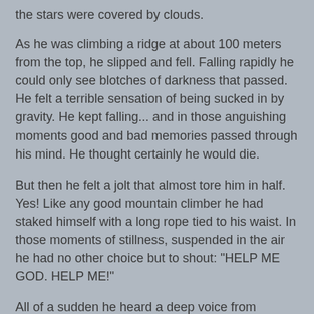the stars were covered by clouds.
As he was climbing a ridge at about 100 meters from the top, he slipped and fell. Falling rapidly he could only see blotches of darkness that passed. He felt a terrible sensation of being sucked in by gravity. He kept falling... and in those anguishing moments good and bad memories passed through his mind. He thought certainly he would die.
But then he felt a jolt that almost tore him in half. Yes! Like any good mountain climber he had staked himself with a long rope tied to his waist. In those moments of stillness, suspended in the air he had no other choice but to shout: "HELP ME GOD. HELP ME!"
All of a sudden he heard a deep voice from heaven... "What do you want me to do?"
"SAVE ME."
"Do you REALLY think that I can save you?"